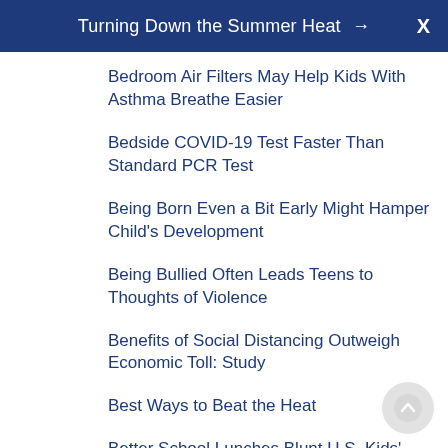Turning Down the Summer Heat →  X
Bedroom Air Filters May Help Kids With Asthma Breathe Easier
Bedside COVID-19 Test Faster Than Standard PCR Test
Being Born Even a Bit Early Might Hamper Child's Development
Being Bullied Often Leads Teens to Thoughts of Violence
Benefits of Social Distancing Outweigh Economic Toll: Study
Best Ways to Beat the Heat
Better School Lunches Blunt U.S. Kids' Weight Gain
Beware of Hand Sanitizers Containing Methanol
Beware Pet 'Bearded Dragons': CDC Says They Could Carry Salmonella
Biden Administration Announces New Division to Deal With Pandemics